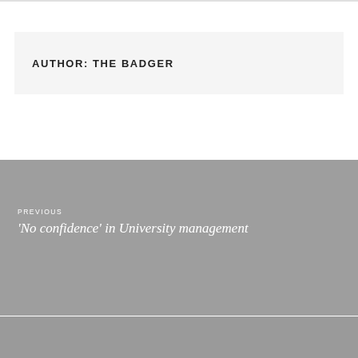AUTHOR: THE BADGER
PREVIOUS
'No confidence' in University management